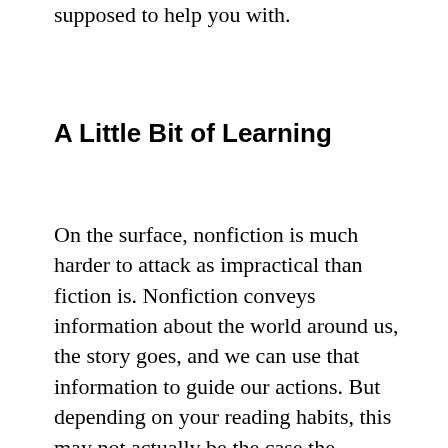supposed to help you with.
A Little Bit of Learning
On the surface, nonfiction is much harder to attack as impractical than fiction is. Nonfiction conveys information about the world around us, the story goes, and we can use that information to guide our actions. But depending on your reading habits, this may not actually be the case the majority of the